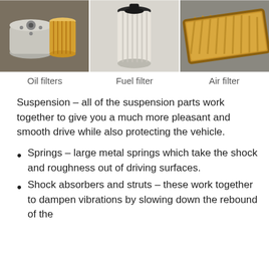[Figure (photo): Three automotive filters shown side by side: oil filters (spin-on canister and cylindrical paper element), fuel filter (cylindrical pleated element), and air filter (rectangular orange panel filter), displayed on a gray surface.]
Oil filters    Fuel filter    Air filter
Suspension – all of the suspension parts work together to give you a much more pleasant and smooth drive while also protecting the vehicle.
Springs – large metal springs which take the shock and roughness out of driving surfaces.
Shock absorbers and struts – these work together to dampen vibrations by slowing down the rebound of the